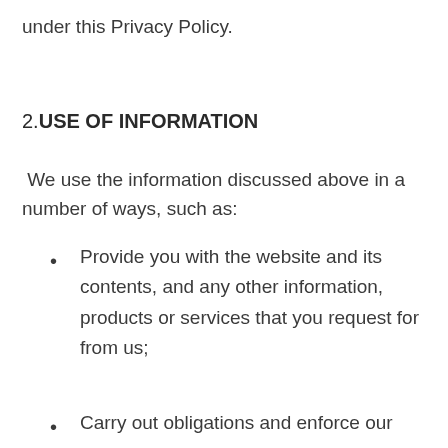under this Privacy Policy.
2.USE OF INFORMATION
We use the information discussed above in a number of ways, such as:
Provide you with the website and its contents, and any other information, products or services that you request for from us;
Carry out obligations and enforce our